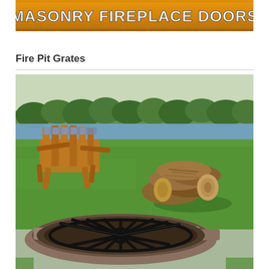[Figure (logo): Orange/gold banner with text 'MASONRY FIREPLACE DOORS' in bold white letters with dark outline on a gradient background]
Fire Pit Grates
[Figure (photo): Outdoor fire pit with a black metal star/spoke-shaped grate sitting in a circular stone fire pit ring. In the background, a wooden Adirondack chair on green grass near a lake with trees, and a pile of split firewood logs to the right.]